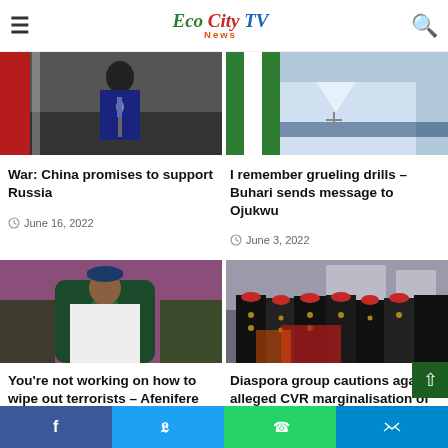Eco City TV News
[Figure (photo): Man in suit speaking at podium with Chinese and Russian flags in background]
War: China promises to support Russia
June 16, 2022
[Figure (photo): Person in traditional white garment, partial view]
I remember grueling drills – Buhari sends message to Ojukwu
June 3, 2022
[Figure (photo): President Buhari seated in a chair wearing white agbada with military officer behind]
You're not working on how to wipe out terrorists – Afenifere replies Buhari on
[Figure (photo): Group of men in traditional Igbo black and gold robes with red caps, viewed from behind]
Diaspora group cautions against alleged CVR marginalisation of Igbo